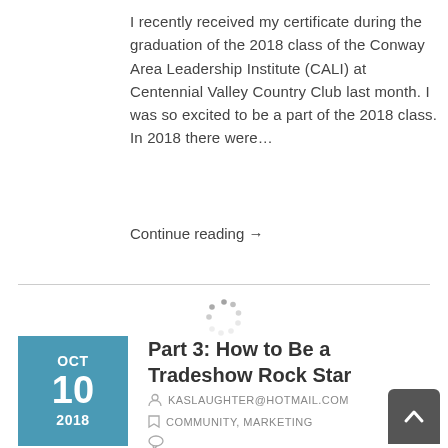I recently received my certificate during the graduation of the 2018 class of the Conway Area Leadership Institute  (CALI) at Centennial Valley Country Club last month.  I was so excited to be a part of the 2018 class.  In 2018 there were…
Continue reading →
[Figure (other): Loading spinner icon (circular dots)]
Part 3: How to Be a Tradeshow Rock Star
KASLAUGHTER@HOTMAIL.COM
COMMUNITY, MARKETING